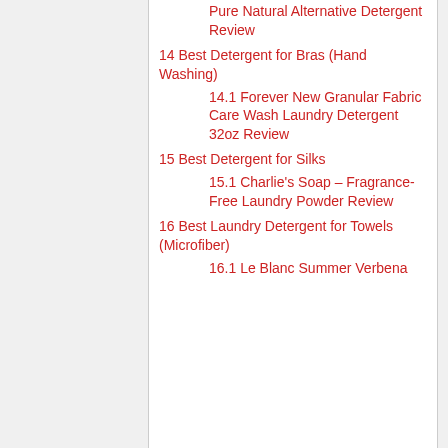Pure Natural Alternative Detergent Review
14 Best Detergent for Bras (Hand Washing)
14.1 Forever New Granular Fabric Care Wash Laundry Detergent 32oz Review
15 Best Detergent for Silks
15.1 Charlie's Soap – Fragrance-Free Laundry Powder Review
16 Best Laundry Detergent for Towels (Microfiber)
16.1 Le Blanc Summer Verbena Temptation 64 Fl. OZ – One Review